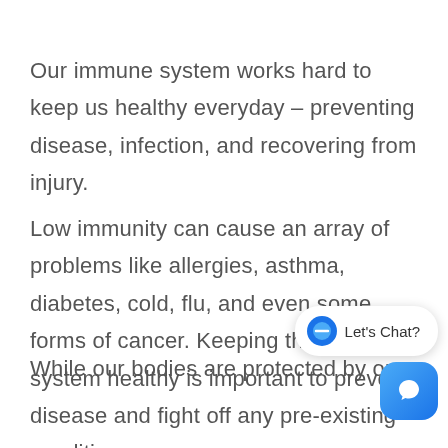Our immune system works hard to keep us healthy everyday – preventing disease, infection, and recovering from injury.
Low immunity can cause an array of problems like allergies, asthma, diabetes, cold, flu, and even some forms of cancer. Keeping the immune system healthy is important to prevent disease and fight off any pre-existing conditions.
While our bodies are protected by our